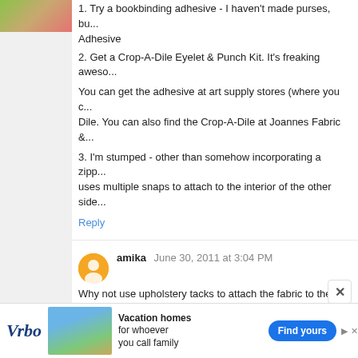[Figure (photo): Small thumbnail photo of crafting material in top left]
1. Try a bookbinding adhesive - I haven't made purses, bu... Adhesive
2. Get a Crop-A-Dile Eyelet & Punch Kit. It's freaking aweso...
You can get the adhesive at art supply stores (where you c... Dile. You can also find the Crop-A-Dile at Joannes Fabric &...
3. I'm stumped - other than somehow incorporating a zipp... uses multiple snaps to attach to the interior of the other side...
Reply
amika   June 30, 2011 at 3:04 PM
Why not use upholstery tacks to attach the fabric to the bo... the fabric into the book cover. Pull the book cover off the sty...
Cover the bent tack with a piece of duct tape. (to prevent th...
Since you cover the inside of the book cover (as your purse...
Reply
JenniferB   June 30, 2011 at 4:04 PM
I love these... and now I am going to have to find bo...
[Figure (infographic): Vrbo advertisement banner at bottom of page]